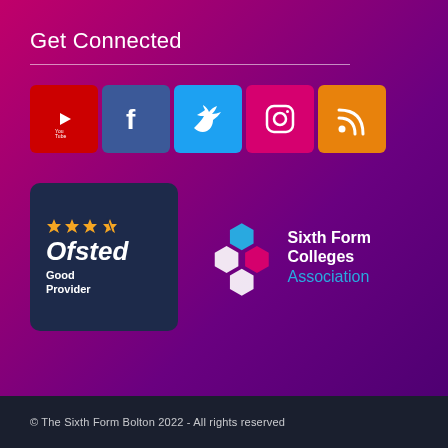Get Connected
[Figure (logo): Social media icons row: YouTube (red), Facebook (blue), Twitter (light blue), Instagram (pink/magenta), RSS (orange)]
[Figure (logo): Ofsted Good Provider badge - dark navy rounded rectangle with stars, 'Ofsted' text in italic, 'Good Provider' below]
[Figure (logo): Sixth Form Colleges Association logo - hexagon cluster in white/pink/blue with text 'Sixth Form Colleges Association']
© The Sixth Form Bolton 2022 - All rights reserved